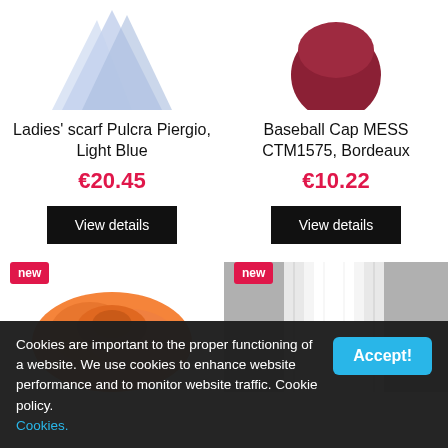[Figure (photo): Partial product photo of a light blue ladies scarf, cropped at top]
[Figure (photo): Partial product photo of a bordeaux/red baseball cap, cropped at top]
Ladies' scarf Pulcra Piergio, Light Blue
€20.45
View details
Baseball Cap MESS CTM1575, Bordeaux
€10.22
View details
[Figure (photo): Partial product photo of an orange knotted scarf/hairband with 'new' badge]
[Figure (photo): Partial product photo of a white/grey textile item with 'new' badge]
Cookies are important to the proper functioning of a website. We use cookies to enhance website performance and to monitor website traffic. Cookie policy. Cookies.
Accept!